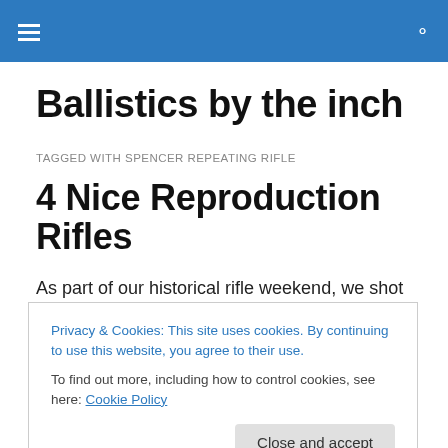Ballistics by the inch [navigation bar]
Ballistics by the inch
TAGGED WITH SPENCER REPEATING RIFLE
4 Nice Reproduction Rifles
As part of our historical rifle weekend, we shot 4 different reproduction rifles all dating to the latter part of the 19th
Privacy & Cookies: This site uses cookies. By continuing to use this website, you agree to their use.
To find out more, including how to control cookies, see here: Cookie Policy
Close and accept
reproductions: